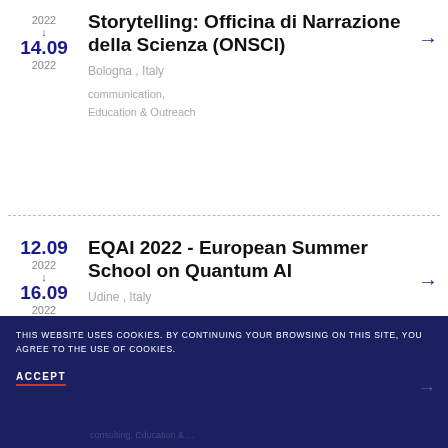Storytelling: Officina di Narrazione della Scienza (ONSCI) | Bologna, Italy | communication, Education & Outreach | 14.09 2022
EQAI 2022 - European Summer School on Quantum AI | Udine, Italy | Education & Outreach | 12.09 2022 - 16.09 2022
Quantum Game Jam 2022 | 16.09 2022 | consulting, Education & Outreach
THIS WEBSITE USES COOKIES. BY CONTINUING YOUR BROWSING ON THIS SITE, YOU AGREE TO THE USE OF COOKIES.
ACCEPT